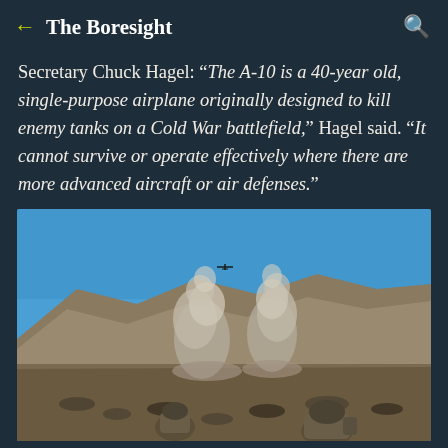The Boresight
Secretary Chuck Hagel: “The A-10 is a 40-year old, single-purpose airplane originally designed to kill enemy tanks on a Cold War battlefield,” Hagel said. “It cannot survive or operate effectively where there are more advanced aircraft or air defenses.”
[Figure (photo): Outdoor military exercise scene showing two soldiers in combat gear and helmets crouching in desert terrain with scrub brush. Large smoke plumes rise from explosions in the middle distance against a backdrop of rocky hills. A small A-10 aircraft is visible flying in the bright blue sky above.]